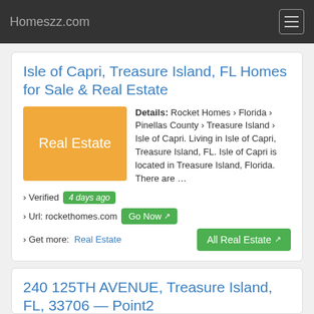Homeszz.com
Isle of Capri, Treasure Island, FL Homes for Sale & Real Estate
Details: Rocket Homes › Florida › Pinellas County › Treasure Island › Isle of Capri. Living in Isle of Capri, Treasure Island, FL. Isle of Capri is located in Treasure Island, Florida. There are …
› Verified 4 days ago
› Url: rockethomes.com Go Now
› Get more: Real Estate  All Real Estate
240 125TH AVENUE, Treasure Island, FL, 33706 — Point2